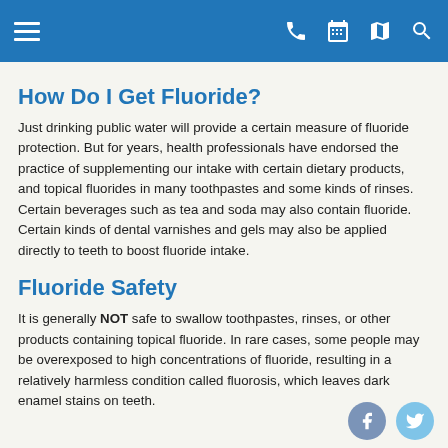[Navigation header with menu, phone, calendar, map, and search icons]
How Do I Get Fluoride?
Just drinking public water will provide a certain measure of fluoride protection. But for years, health professionals have endorsed the practice of supplementing our intake with certain dietary products, and topical fluorides in many toothpastes and some kinds of rinses. Certain beverages such as tea and soda may also contain fluoride. Certain kinds of dental varnishes and gels may also be applied directly to teeth to boost fluoride intake.
Fluoride Safety
It is generally NOT safe to swallow toothpastes, rinses, or other products containing topical fluoride. In rare cases, some people may be overexposed to high concentrations of fluoride, resulting in a relatively harmless condition called fluorosis, which leaves dark enamel stains on teeth.